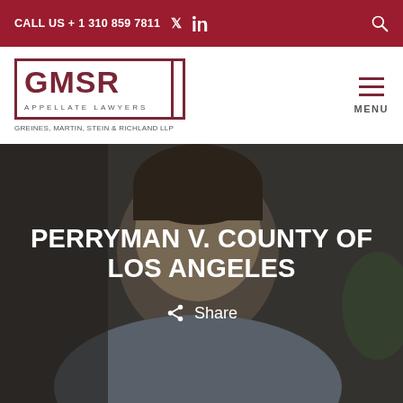CALL US + 1 310 859 7811
[Figure (logo): GMSR Appellate Lawyers logo — GREINES, MARTIN, STEIN & RICHLAND LLP]
[Figure (photo): Background photo of a man in a blue-gray shirt, dark background, hero section]
PERRYMAN V. COUNTY OF LOS ANGELES
Share